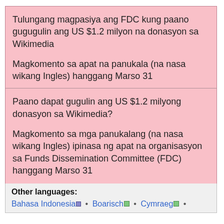Tulungang magpasiya ang FDC kung paano gugugulin ang US $1.2 milyon na donasyon sa Wikimedia
Magkomento sa apat na panukala (na nasa wikang Ingles) hanggang Marso 31
Paano dapat gugulin ang US $1.2 milyong donasyon sa Wikimedia?
Magkomento sa mga panukalang (na nasa wikang Ingles) ipinasa ng apat na organisasyon sa Funds Dissemination Committee (FDC) hanggang Marso 31
Other languages:
Bahasa Indonesia • Boarisch • Cymraeg •